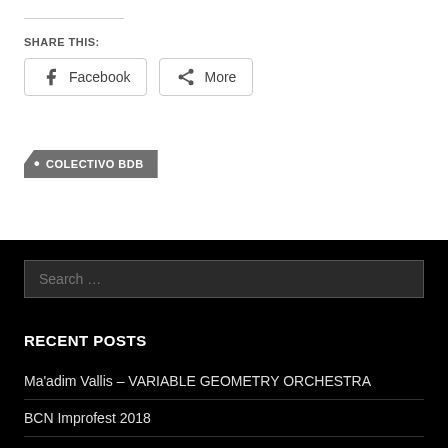SHARE THIS:
Facebook   More
• COLECTIVO BDB
Search …
RECENT POSTS
Ma'adim Vallis – VARIABLE GEOMETRY ORCHESTRA
BCN Improfest 2018